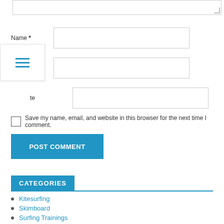[Figure (screenshot): Comment form with Name, Email, Website input fields, a textarea, a save checkbox, and a POST COMMENT button. A hamburger menu icon overlays the left side.]
Save my name, email, and website in this browser for the next time I comment.
POST COMMENT
CATEGORIES
Kitesurfing
Skimboard
Surfing Trainings
Wakeboards
Wave surfing